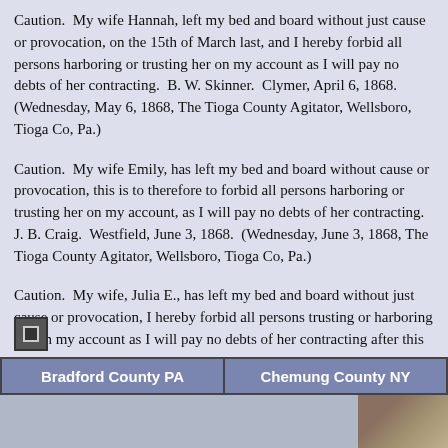Caution.  My wife Hannah, left my bed and board without just cause or provocation, on the 15th of March last, and I hereby forbid all persons harboring or trusting her on my account as I will pay no debts of her contracting.  B. W. Skinner.  Clymer, April 6, 1868.  (Wednesday, May 6, 1868, The Tioga County Agitator, Wellsboro, Tioga Co, Pa.)
Caution.  My wife Emily, has left my bed and board without cause or provocation, this is to therefore to forbid all persons harboring or trusting her on my account, as I will pay no debts of her contracting.  J. B. Craig.  Westfield, June 3, 1868.  (Wednesday, June 3, 1868, The Tioga County Agitator, Wellsboro, Tioga Co, Pa.)
Caution.  My wife, Julia E., has left my bed and board without just cause or provocation, I hereby forbid all persons trusting or harboring her on my account as I will pay no debts of her contracting after this date.  June 29, 1858.  John Spaulding.  (Wednesday, July 1, 1868, The Tioga County Agitator, Wellsboro, Tioga Co, Pa.)
Bradford County PA | Chemung County NY